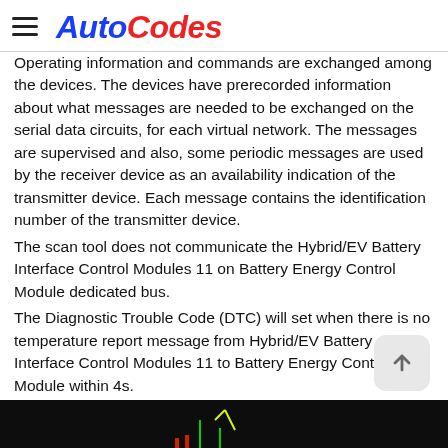AutoCodes
Operating information and commands are exchanged among the devices. The devices have prerecorded information about what messages are needed to be exchanged on the serial data circuits, for each virtual network. The messages are supervised and also, some periodic messages are used by the receiver device as an availability indication of the transmitter device. Each message contains the identification number of the transmitter device. The scan tool does not communicate the Hybrid/EV Battery Interface Control Modules 11 on Battery Energy Control Module dedicated bus. The Diagnostic Trouble Code (DTC) will set when there is no temperature report message from Hybrid/EV Battery Interface Control Modules 11 to Battery Energy Control Module within 4s.
[Figure (screenshot): Dark background image at the bottom of the page, likely a diagnostic screenshot or chart]